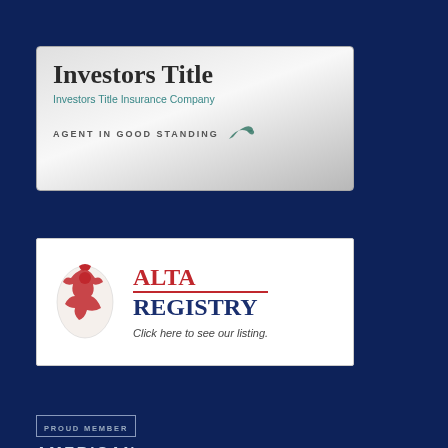[Figure (logo): Investors Title Insurance Company – Agent in Good Standing badge. Silver/grey gradient background with bold serif text 'Investors Title', subtitle 'Investors Title Insurance Company' in teal, and 'AGENT IN GOOD STANDING' with a bird icon.]
[Figure (logo): ALTA Registry badge. White background with a red heraldic eagle on the left, 'ALTA' in red and 'REGISTRY' in navy bold text on the right, and 'Click here to see our listing.' below.]
[Figure (logo): American Land Title Association proud member badge. Dark navy background with 'PROUD MEMBER' in a small bordered label, then 'AMERICAN LAND TITLE ASSOCIATION' in spaced white/light blue capital letters, and a white eagle emblem with TM mark below.]
[Figure (logo): Wire Fraud Prevention Tools badge. White box on dark navy background with bold navy text 'WIRE FRAUD PREVENTION TOOLS' and a cursor/pointer icon.]